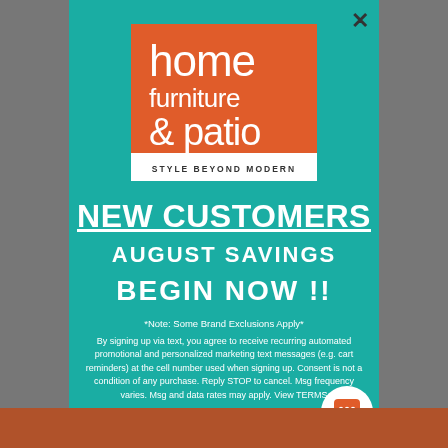[Figure (logo): Home Furniture & Patio logo — orange square with white text 'home furniture & patio' and white tagline bar 'STYLE BEYOND MODERN']
NEW CUSTOMERS
AUGUST SAVINGS
BEGIN NOW !!
*Note: Some Brand Exclusions Apply*
By signing up via text, you agree to receive recurring automated promotional and personalized marketing text messages (e.g. cart reminders) at the cell number used when signing up. Consent is not a condition of any purchase. Reply STOP to cancel. Msg frequency varies. Msg and data rates may apply. View TERMS